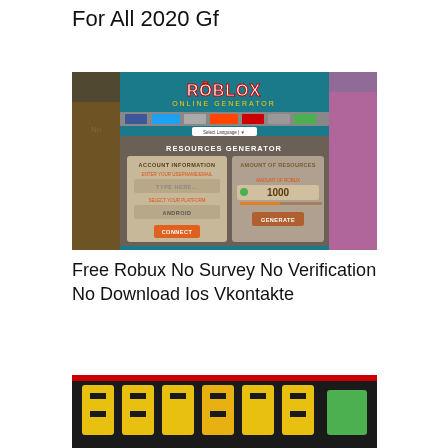For All 2020 Gf
[Figure (screenshot): Roblox Online Generator screenshot showing a resources generator interface with account information section, type here field, Android platform selection, connect button, and amount of resources section with 1000 value and generate button. Roblox characters visible on left and right sides against teal background.]
Free Robux No Survey No Verification No Download Ios Vkontakte
[Figure (screenshot): Partially visible banner image with stylized yellow text on dark background, appears to be another game or promotional image.]